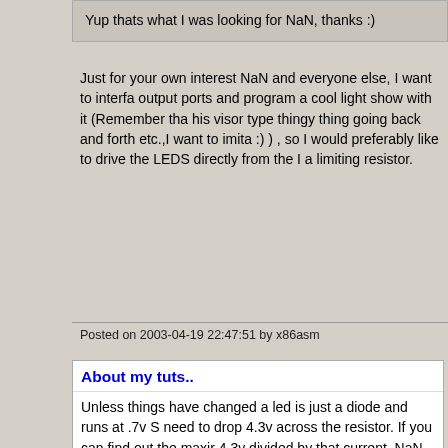Yup thats what I was looking for NaN, thanks :)
Just for your own interest NaN and everyone else, I want to interfа output ports and program a cool light show with it (Remember tha his visor type thingy thing going back and forth etc.,I want to imita :) ) , so I would preferably like to drive the LEDS directly from the I a limiting resistor.
Posted on 2003-04-19 22:47:51 by x86asm
About my tuts..
Unless things have changed a led is just a diode and runs at .7v S need to drop 4.3v across the resistor. If you can find out the maxir 4.3v divided by that current. NaN is right and I think 470 ohms wo
Posted on 2003-04-19 23:13:12 by drhowarddrfine
About my tuts..
I was puzzled by the 2V requirement myself ;)
However, i have seen bright light LED's that can handle ALOT of c the best assumption i could take. All silicon diodes drop approx 0.
LEDS are diodes, but they have other charateristice that gives the the manufacturer really. But ya, most 'standard' red LEDs can be a